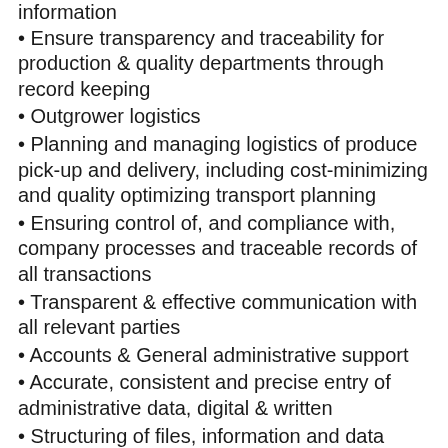information
Ensure transparency and traceability for production & quality departments through record keeping
Outgrower logistics
Planning and managing logistics of produce pick-up and delivery, including cost-minimizing and quality optimizing transport planning
Ensuring control of, and compliance with, company processes and traceable records of all transactions
Transparent & effective communication with all relevant parties
Accounts & General administrative support
Accurate, consistent and precise entry of administrative data, digital & written
Structuring of files, information and data (both hard copy & digital)
Data analysis, including data cleansing